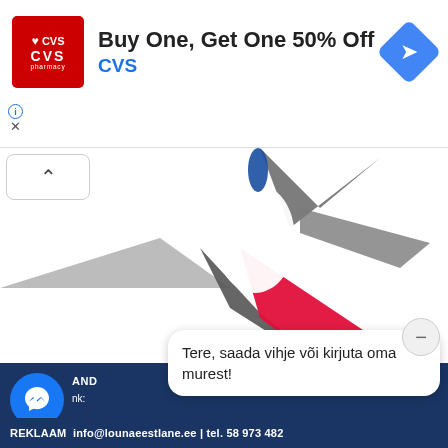[Figure (screenshot): CVS Pharmacy advertisement banner: Buy One, Get One 50% Off with CVS logo]
[Figure (photo): Close-up of a compass rose showing gray, dark gray, red/pink, and blue needle segments on white background]
Portaali valmistas KATING
[Figure (screenshot): Facebook Messenger chat bar with dark blue background, messenger icon, AND/nk text, chat bubble saying 'Tere, saada vihje või kirjuta oma murest!' and footer with REKLAAM info@lounaeestlane.ee | tel. 58 973 482]